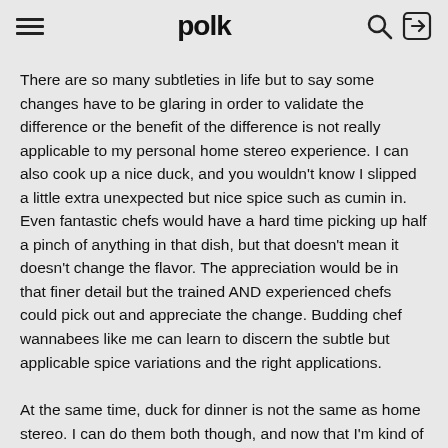polk
There are so many subtleties in life but to say some changes have to be glaring in order to validate the difference or the benefit of the difference is not really applicable to my personal home stereo experience. I can also cook up a nice duck, and you wouldn't know I slipped a little extra unexpected but nice spice such as cumin in. Even fantastic chefs would have a hard time picking up half a pinch of anything in that dish, but that doesn't mean it doesn't change the flavor. The appreciation would be in that finer detail but the trained AND experienced chefs could pick out and appreciate the change. Budding chef wannabees like me can learn to discern the subtle but applicable spice variations and the right applications.
At the same time, duck for dinner is not the same as home stereo. I can do them both though, and now that I'm kind of hungry I think I might have duck for dinner while I...